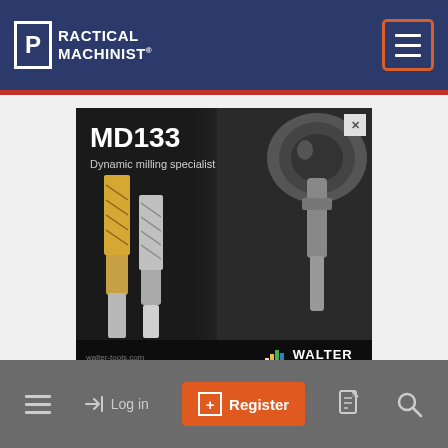Practical Machinist
[Figure (advertisement): Walter Tools advertisement for MD133 Dynamic milling specialist. Shows milling end mill bits (gold/titanium coated and silver carbide) on dark background with CNC machining equipment. Branding: walter-tools.com, WALTER Engineering Kompetenz]
Log in | Register